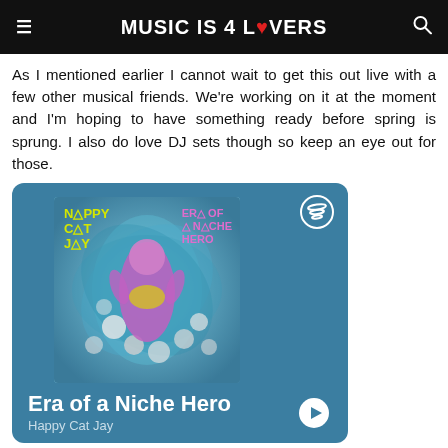MUSIC IS 4 LOVERS
As I mentioned earlier I cannot wait to get this out live with a few other musical friends. We're working on it at the moment and I'm hoping to have something ready before spring is sprung. I also do love DJ sets though so keep an eye out for those.
[Figure (screenshot): Spotify embed card showing album 'Era of a Niche Hero' by Happy Cat Jay with teal background and album artwork featuring a woman in a ball pit]